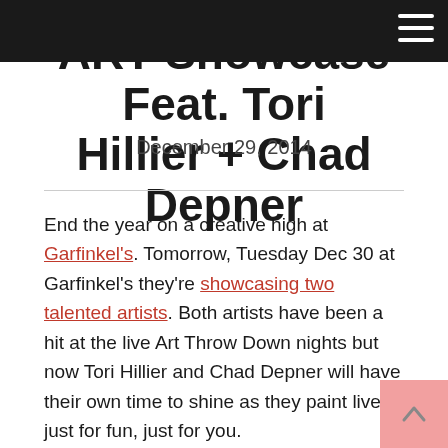ART Showcase Feat. Tori Hillier + Chad Depner
ART Showcase Feat. Tori Hillier + Chad Depner
December 29, 2014
End the year on a creative high at Garfinkel's. Tomorrow, Tuesday Dec 30 at Garfinkel's they're showcasing two talented artists. Both artists have been a hit at the live Art Throw Down nights but now Tori Hillier and Chad Depner will have their own time to shine as they paint live – just for fun, just for you.
Doors open at 7pm, with the show starting at 9pm.
You've seen what they can do in only 30 minutes at our Art Throw Down nights. Now watch their talents